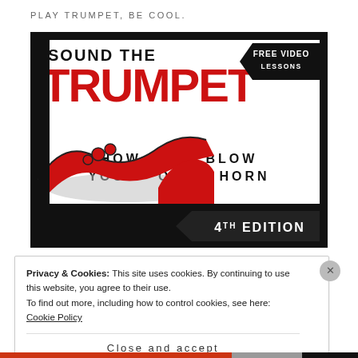PLAY TRUMPET, BE COOL.
[Figure (illustration): Book cover for 'Sound the Trumpet: How to Blow Your Own Horn, 4th Edition' with red and black design, featuring a skeleton playing trumpet illustration, FREE VIDEO LESSONS badge, and arrow pointing to 4TH EDITION.]
Privacy & Cookies: This site uses cookies. By continuing to use this website, you agree to their use.
To find out more, including how to control cookies, see here: Cookie Policy
Close and accept